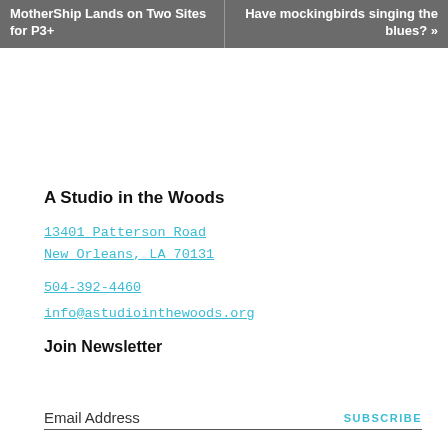MotherShip Lands on Two Sites for P3+
Have mockingbirds singing the blues? »
A Studio in the Woods
13401 Patterson Road
New Orleans, LA 70131
504-392-4460
info@astudiointhewoods.org
Join Newsletter
Email Address
SUBSCRIBE